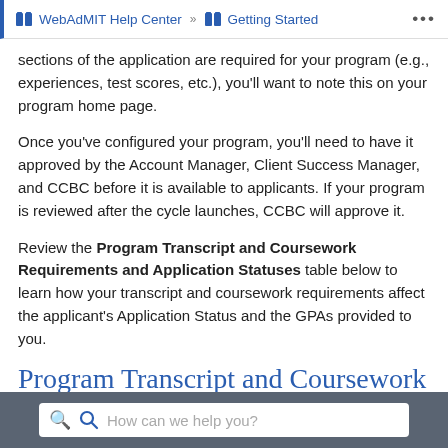WebAdMIT Help Center » Getting Started ...
sections of the application are required for your program (e.g., experiences, test scores, etc.), you'll want to note this on your program home page.
Once you've configured your program, you'll need to have it approved by the Account Manager, Client Success Manager, and CCBC before it is available to applicants. If your program is reviewed after the cycle launches, CCBC will approve it.
Review the Program Transcript and Coursework Requirements and Application Statuses table below to learn how your transcript and coursework requirements affect the applicant's Application Status and the GPAs provided to you.
Program Transcript and Coursework Requirements and Application Statuses
How can we help you?